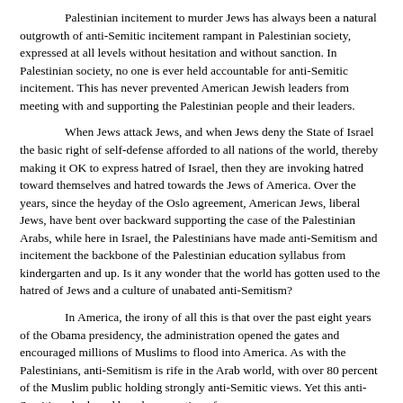Palestinian incitement to murder Jews has always been a natural outgrowth of anti-Semitic incitement rampant in Palestinian society, expressed at all levels without hesitation and without sanction. In Palestinian society, no one is ever held accountable for anti-Semitic incitement. This has never prevented American Jewish leaders from meeting with and supporting the Palestinian people and their leaders.
When Jews attack Jews, and when Jews deny the State of Israel the basic right of self-defense afforded to all nations of the world, thereby making it OK to express hatred of Israel, then they are invoking hatred toward themselves and hatred towards the Jews of America. Over the years, since the heyday of the Oslo agreement, American Jews, liberal Jews, have bent over backward supporting the case of the Palestinian Arabs, while here in Israel, the Palestinians have made anti-Semitism and incitement the backbone of the Palestinian education syllabus from kindergarten and up. Is it any wonder that the world has gotten used to the hatred of Jews and a culture of unabated anti-Semitism?
In America, the irony of all this is that over the past eight years of the Obama presidency, the administration opened the gates and encouraged millions of Muslims to flood into America. As with the Palestinians, anti-Semitism is rife in the Arab world, with over 80 percent of the Muslim public holding strongly anti-Semitic views. Yet this anti-Semitism, harbored by a large portion of